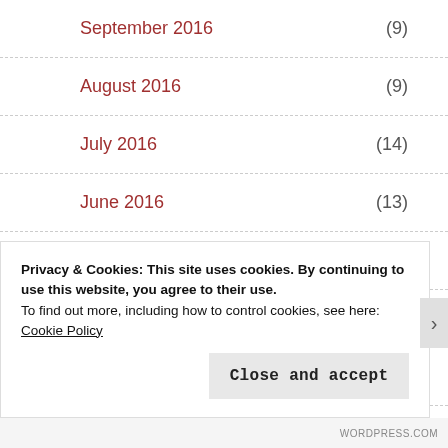September 2016 (9)
August 2016 (9)
July 2016 (14)
June 2016 (13)
May 2016 (11)
April 2016 (14)
March 2016 (12)
Privacy & Cookies: This site uses cookies. By continuing to use this website, you agree to their use.
To find out more, including how to control cookies, see here: Cookie Policy
Close and accept